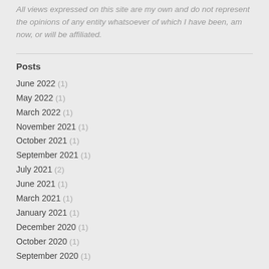All views expressed on this site are my own and do not represent the opinions of any entity whatsoever of which I have been, am now, or will be affiliated.
Posts
June 2022 (1)
May 2022 (1)
March 2022 (1)
November 2021 (1)
October 2021 (1)
September 2021 (1)
July 2021 (2)
June 2021 (1)
March 2021 (1)
January 2021 (1)
December 2020 (1)
October 2020 (1)
September 2020 (1)